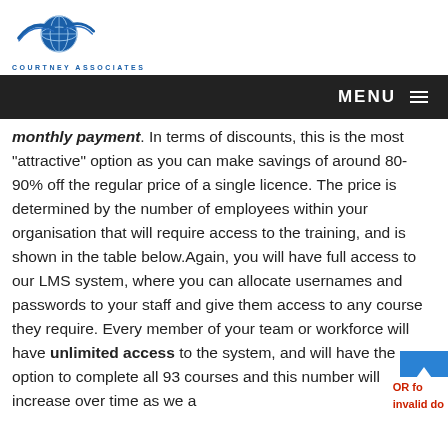[Figure (logo): Courtney Associates logo with globe icon and blue swoosh, text reads COURTNEY ASSOCIATES]
MENU
monthly payment. In terms of discounts, this is the most "attractive" option as you can make savings of around 80-90% off the regular price of a single licence. The price is determined by the number of employees within your organisation that will require access to the training, and is shown in the table below.Again, you will have full access to our LMS system, where you can allocate usernames and passwords to your staff and give them access to any course they require. Every member of your team or workforce will have unlimited access to the system, and will have the option to complete all 93 courses OR for and this number will increase over time as we a invalid do and this number will increase over time as we a